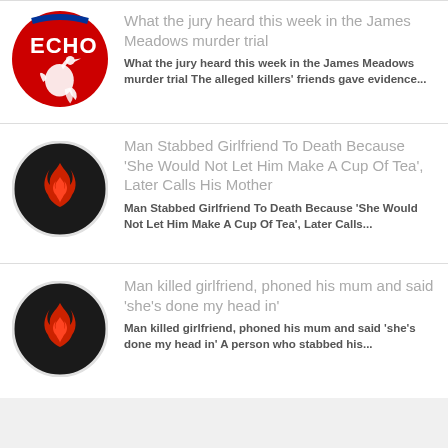[Figure (logo): Liverpool Echo circular logo with red background and white liver bird]
What the jury heard this week in the James Meadows murder trial
What the jury heard this week in the James Meadows murder trial The alleged killers' friends gave evidence...
[Figure (logo): Black circle logo with red flame icon]
Man Stabbed Girlfriend To Death Because 'She Would Not Let Him Make A Cup Of Tea', Later Calls His Mother
Man Stabbed Girlfriend To Death Because 'She Would Not Let Him Make A Cup Of Tea', Later Calls...
[Figure (logo): Black circle logo with red flame icon]
Man killed girlfriend, phoned his mum and said 'she's done my head in'
Man killed girlfriend, phoned his mum and said 'she's done my head in' A person who stabbed his...